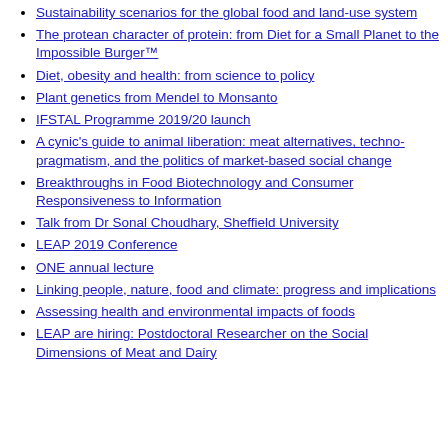Sustainability scenarios for the global food and land-use system
The protean character of protein: from Diet for a Small Planet to the Impossible Burger™
Diet, obesity and health: from science to policy
Plant genetics from Mendel to Monsanto
IFSTAL Programme 2019/20 launch
A cynic's guide to animal liberation: meat alternatives, techno-pragmatism, and the politics of market-based social change
Breakthroughs in Food Biotechnology and Consumer Responsiveness to Information
Talk from Dr Sonal Choudhary, Sheffield University
LEAP 2019 Conference
ONE annual lecture
Linking people, nature, food and climate: progress and implications
Assessing health and environmental impacts of foods
LEAP are hiring: Postdoctoral Researcher on the Social Dimensions of Meat and Dairy